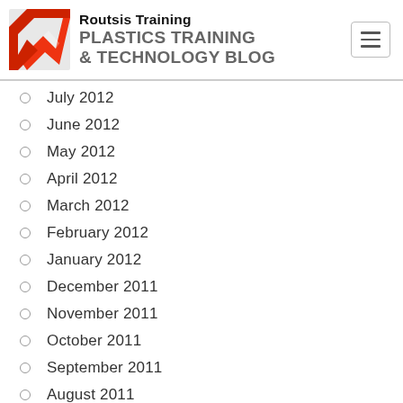Routsis Training PLASTICS TRAINING & TECHNOLOGY BLOG
July 2012
June 2012
May 2012
April 2012
March 2012
February 2012
January 2012
December 2011
November 2011
October 2011
September 2011
August 2011